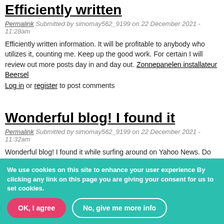Efficiently written
Permalink Submitted by simomay562_9199 on 22 December 2021 - 11:28am
Efficiently written information. It will be profitable to anybody who utilizes it, counting me. Keep up the good work. For certain I will review out more posts day in and day out. Zonnepanelen installateur Beersel
Log in or register to post comments
Wonderful blog! I found it
Permalink Submitted by simomay562_9199 on 22 December 2021 - 11:32am
Wonderful blog! I found it while surfing around on Yahoo News. Do you have any suggestions on how to get listed in Yahoo News? I've been trying for a while but I never seem to get there! Appreciate it
We use cookies on this site to enhance your user experience By clicking any link on this page you are giving your consent for us to set cookies.